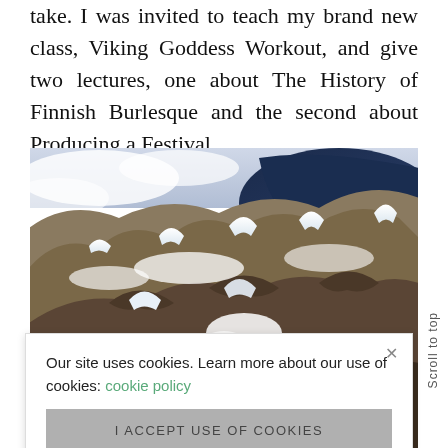take. I was invited to teach my brand new class, Viking Goddess Workout, and give two lectures, one about The History of Finnish Burlesque and the second about Producing a Festival.
[Figure (photo): Aerial photograph taken from a plane window showing snow-capped mountains, valleys, clouds, and a dark blue lake or fjord in the upper right portion of the image.]
Our site uses cookies. Learn more about our use of cookies: cookie policy
I ACCEPT USE OF COOKIES
a that the photos from plane windows, but this time I had no choice. The mountains